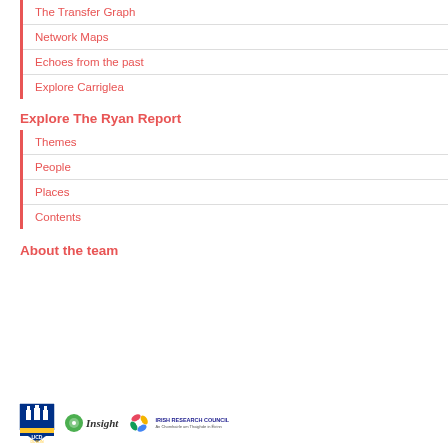The Transfer Graph
Network Maps
Echoes from the past
Explore Carriglea
Explore The Ryan Report
Themes
People
Places
Contents
About the team
[Figure (logo): UCD Dublin shield logo, Insight centre logo with green circle icon, Irish Research Council logo with colorful pinwheel icon and text 'IRISH RESEARCH COUNCIL An Chomhairle um Thaighde in Eirinn']